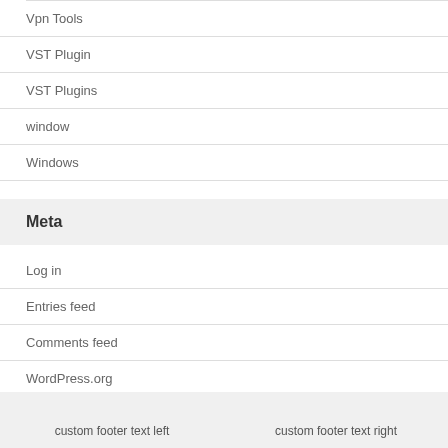Vpn Tools
VST Plugin
VST Plugins
window
Windows
Meta
Log in
Entries feed
Comments feed
WordPress.org
custom footer text left   custom footer text right